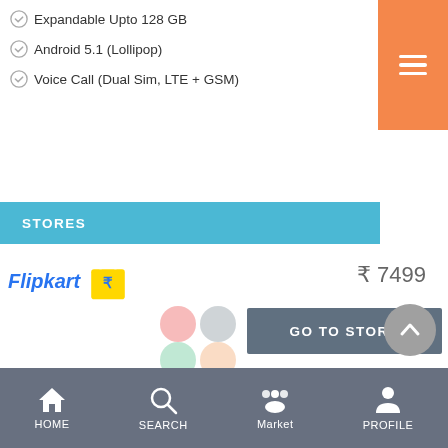Expandable Upto 128 GB
Android 5.1 (Lollipop)
Voice Call (Dual Sim, LTE + GSM)
STORES
[Figure (logo): Flipkart logo with shopping bag icon]
₹7499
[Figure (other): Loading spinner circles overlay (pink, grey, green, peach)]
GO TO STORE
Offer: 10% Instant Discount* with HDFC Bank Cards | 5% off on Visa Cards for COD. New users | Extra 5% off* with Axis Bank Buzz Credit Card
HOME  SEARCH  Market  PROFILE